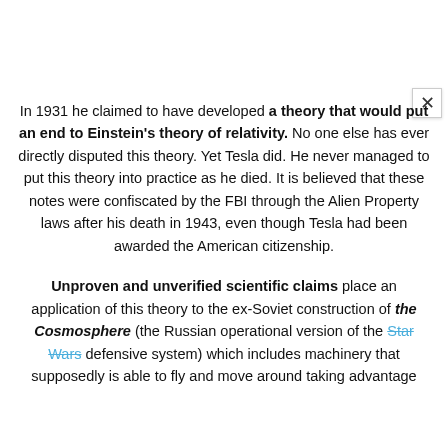In 1931 he claimed to have developed a theory that would put an end to Einstein's theory of relativity. No one else has ever directly disputed this theory. Yet Tesla did. He never managed to put this theory into practice as he died. It is believed that these notes were confiscated by the FBI through the Alien Property laws after his death in 1943, even though Tesla had been awarded the American citizenship.
Unproven and unverified scientific claims place an application of this theory to the ex-Soviet construction of the Cosmosphere (the Russian operational version of the Star Wars defensive system) which includes machinery that supposedly is able to fly and move around taking advantage